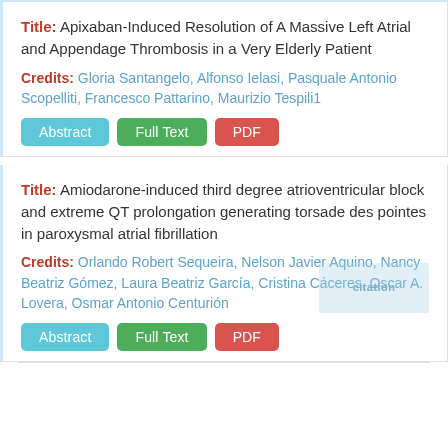Title: Apixaban-Induced Resolution of A Massive Left Atrial and Appendage Thrombosis in a Very Elderly Patient
Credits: Gloria Santangelo, Alfonso Ielasi, Pasquale Antonio Scopelliti, Francesco Pattarino, Maurizio Tespili1
Title: Amiodarone-induced third degree atrioventricular block and extreme QT prolongation generating torsade des pointes in paroxysmal atrial fibrillation
Credits: Orlando Robert Sequeira, Nelson Javier Aquino, Nancy Beatriz Gómez, Laura Beatriz García, Cristina Cáceres, Oscar A. Lovera, Osmar Antonio Centurión